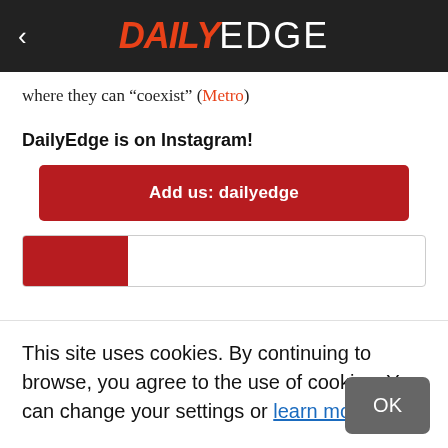< DAILYEDGE
where they can “coexist” (Metro)
DailyEdge is on Instagram!
Add us: dailyedge
This site uses cookies. By continuing to browse, you agree to the use of cookies. You can change your settings or learn more here.
OK